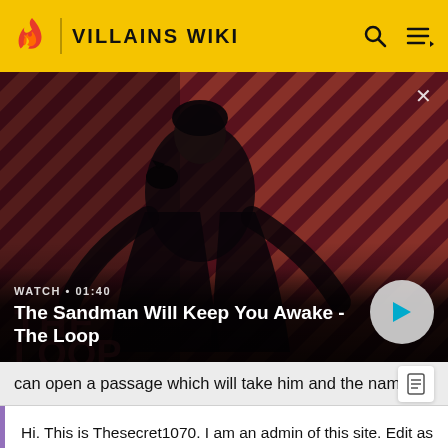VILLAINS WIKI
[Figure (screenshot): Video thumbnail showing a dark-cloaked figure with a raven on shoulder against a red and dark-striped diagonal background. Text overlay: WATCH 01:40 / The Sandman Will Keep You Awake - The Loop]
can open a passage which will take him and the namele
Hi. This is Thesecret1070. I am an admin of this site. Edit as much as you wish, but one little thing... If you are going to edit a lot, then make yourself a user and login. Other than that, enjoy Villains Wiki!!!